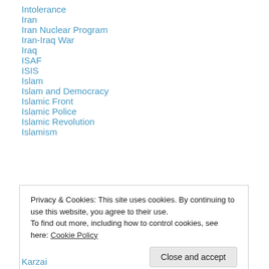Intolerance
Iran
Iran Nuclear Program
Iran-Iraq War
Iraq
ISAF
ISIS
Islam
Islam and Democracy
Islamic Front
Islamic Police
Islamic Revolution
Islamism
Privacy & Cookies: This site uses cookies. By continuing to use this website, you agree to their use.
To find out more, including how to control cookies, see here: Cookie Policy
Karzai